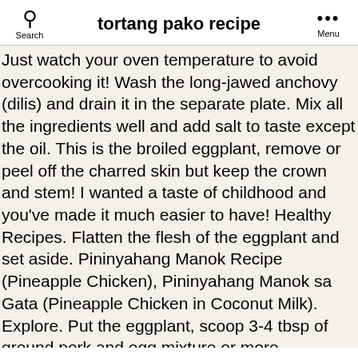tortang pako recipe
Just watch your oven temperature to avoid overcooking it! Wash the long-jawed anchovy (dilis) and drain it in the separate plate. Mix all the ingredients well and add salt to taste except the oil. This is the broiled eggplant, remove or peel off the charred skin but keep the crown and stem! I wanted a taste of childhood and you've made it much easier to have! Healthy Recipes. Flatten the flesh of the eggplant and set aside. Pininyahang Manok Recipe (Pineapple Chicken), Pininyahang Manok sa Gata (Pineapple Chicken in Coconut Milk). Explore. Put the eggplant, scoop 3-4 tbsp of ground pork and egg mixture or more depending on the size of the eggplant and spread it on top. Saute the garlic, onion and tomatoes. December 13, 2014 By My Style Recipe 5 Comments. Stir fry the garlic, onion and ground pork till it is cooked and tender. Currently you have JavaScript disabled. Welcome to My Style Recipe and thanks for stopping by. Click here for instructions on how to enable JavaScript in your browser